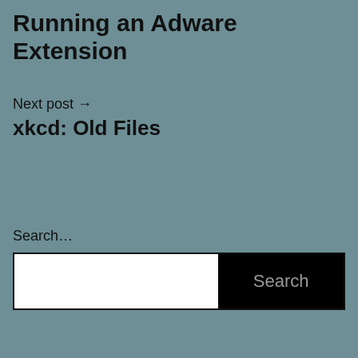Running an Adware Extension
Next post → xkcd: Old Files
Search...